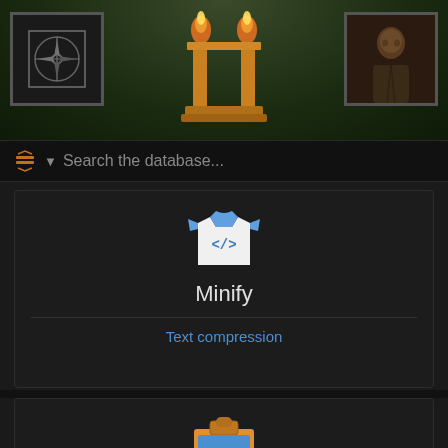[Figure (screenshot): Game UI header banner with torch logo, left compass icon frame, right character portrait frame, set against dark green textured background]
🔱 ▼  Search the database...
[Figure (illustration): Minify app icon: white shirt/document with blue XML/code tag symbol]
Minify
Text compression
[Figure (illustration): Clipy app icon: orange clipboard with blue sticky note labeled Clipy]
Clipy
Clipboard manager
Lifesaver